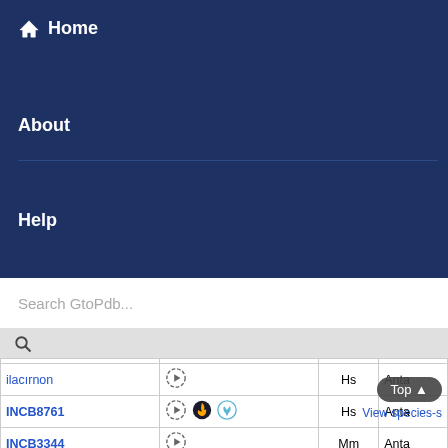Home
About
Help
Search GtoPdb...
| Name | Icons | Sp | Type |
| --- | --- | --- | --- |
| ilacırnon |  | Hs | Anta |
| INCB8761 |  | Hs | Anta |
| INCB3344 |  | Mm | Anta |
| RS-102895 |  | Hs | Anta |
| CCL24 {Sp: Human} |  | Hs | Anta |
Top ▲
View species-s